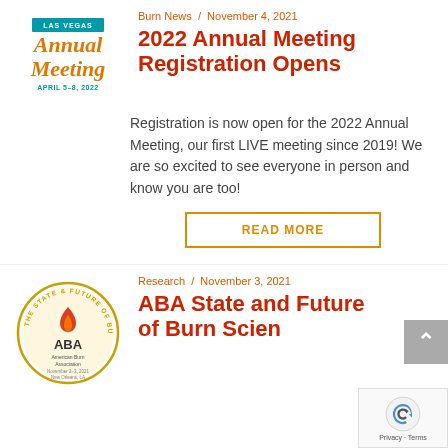[Figure (logo): Las Vegas Annual Meeting logo, April 5-8, 2022 in orange and teal script]
Burn News / November 4, 2021
2022 Annual Meeting Registration Opens
Registration is now open for the 2022 Annual Meeting, our first LIVE meeting since 2019! We are so excited to see everyone in person and know you are too!
READ MORE
[Figure (logo): American Burn Association logo — circular seal with flame, text: THE STATE & FUTURE OF BURN SCIENCE, November 2-3, 2021, New Orleans, LA]
Research / November 3, 2021
ABA State and Future of Burn Science